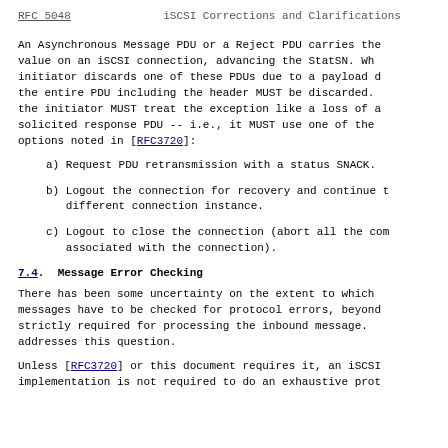RFC 5048                  iSCSI Corrections and Clarifications
An Asynchronous Message PDU or a Reject PDU carries the value on an iSCSI connection, advancing the StatSN.  Wh initiator discards one of these PDUs due to a payload d the entire PDU including the header MUST be discarded. the initiator MUST treat the exception like a loss of a solicited response PDU -- i.e., it MUST use one of the options noted in [RFC3720]:
a) Request PDU retransmission with a status SNACK.
b) Logout the connection for recovery and continue t different connection instance.
c) Logout to close the connection (abort all the com associated with the connection).
7.4.  Message Error Checking
There has been some uncertainty on the extent to which messages have to be checked for protocol errors, beyond strictly required for processing the inbound message. addresses this question.
Unless [RFC3720] or this document requires it, an iSCSI implementation is not required to do an exhaustive prot